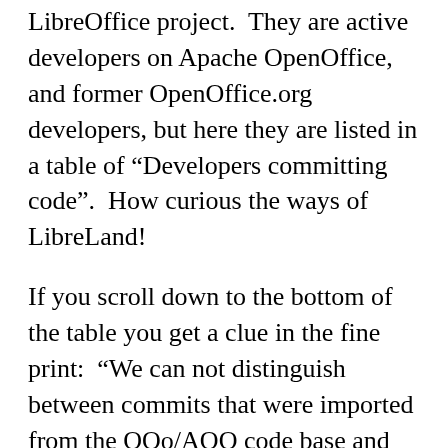LibreOffice project.  They are active developers on Apache OpenOffice, and former OpenOffice.org developers, but here they are listed in a table of “Developers committing code”.  How curious the ways of LibreLand!
If you scroll down to the bottom of the table you get a clue in the fine print:  “We can not distinguish between commits that were imported from the OOo/AOO code base and those who went directly into the LibreOffice code base.”
Hmmm... so let me get this right.   If you take my code, you say that I committed it to the